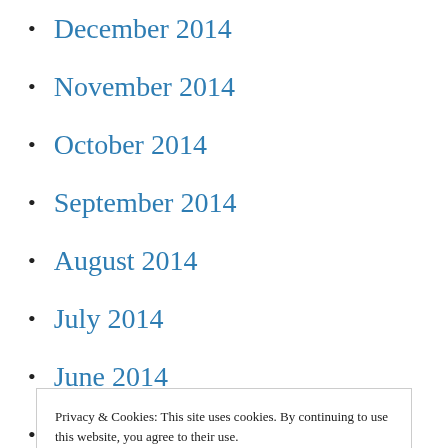December 2014
November 2014
October 2014
September 2014
August 2014
July 2014
June 2014
May 2014
April 2014
March 2014
February 2014
Privacy & Cookies: This site uses cookies. By continuing to use this website, you agree to their use.
To find out more, including how to control cookies, see here:
Cookie Policy
August 2013